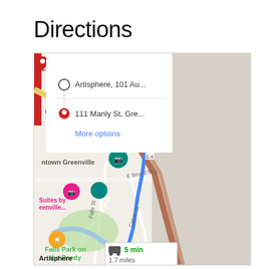Directions
[Figure (screenshot): Google Maps screenshot showing directions from Artisphere, 101 Au... to 111 Manly St, Gre... with a directions panel overlay showing 'More options' link. The map shows downtown Greenville area with Falls Park on the Reedy, E Broad St, Falls St, Calvin St, and a driving directions route highlighted in blue. A route info box shows a car icon, 5 min, 1.7 miles. Map pins include teal camera icon, pink hotel pin, teal food pin, and orange restaurant pin. 'Artisphere' label shown at bottom left of map.]